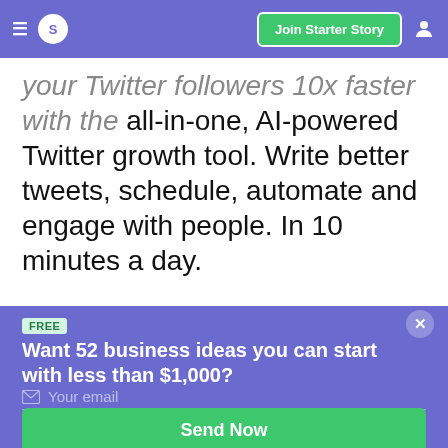≡  S   Join Starter Story  👤
your Twitter followers 10x faster with the all-in-one, AI-powered Twitter growth tool. Write better tweets, schedule, automate and engage with people. In 10 minutes a day.
FREE
Want 52 business ideas you can start with less than $1,000?
Your email
Send Now